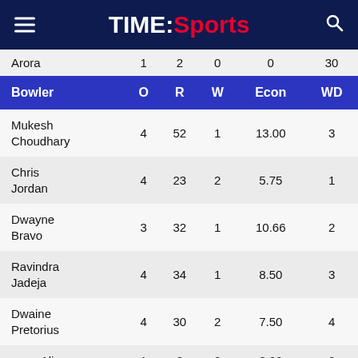TIME:Sports
| Bowler | O | R | W | Econ | WD |
| --- | --- | --- | --- | --- | --- |
| Arora | 1 | 2 | 0 | 0 | 30 |
| Mukesh Choudhary | 4 | 52 | 1 | 13.00 | 3 |
| Chris Jordan | 4 | 23 | 2 | 5.75 | 1 |
| Dwayne Bravo | 3 | 32 | 1 | 10.66 | 2 |
| Ravindra Jadeja | 4 | 34 | 1 | 8.50 | 3 |
| Dwaine Pretorius | 4 | 30 | 2 | 7.50 | 4 |
| oeen Ali | 1 | 8 | 0 | 8.00 | 0 |